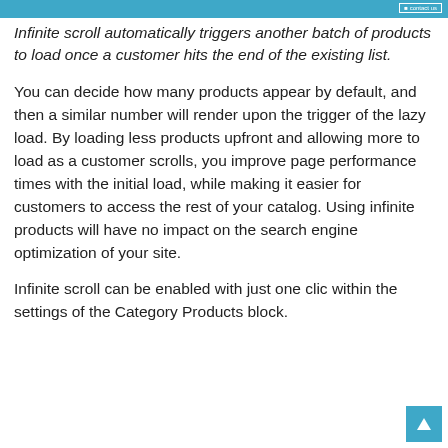contact us
Infinite scroll automatically triggers another batch of products to load once a customer hits the end of the existing list.
You can decide how many products appear by default, and then a similar number will render upon the trigger of the lazy load. By loading less products upfront and allowing more to load as a customer scrolls, you improve page performance times with the initial load, while making it easier for customers to access the rest of your catalog. Using infinite products will have no impact on the search engine optimization of your site.
Infinite scroll can be enabled with just one click within the settings of the Category Products block.